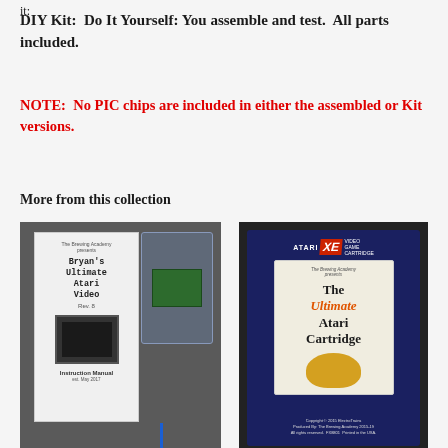it:
DIY Kit:  Do It Yourself: You assemble and test.  All parts included.
NOTE:  No PIC chips are included in either the assembled or Kit versions.
More from this collection
[Figure (photo): Photo of a DIY kit showing an instruction manual for Bryan's Ultimate Atari Video and a bag containing electronic components and a blue wire]
[Figure (photo): Photo of an Atari XE Video Game Cartridge box for The Ultimate Atari Cartridge, showing copyright 2015 ElectroTrains, Produced By The Brewing Academy 2015-19, All rights reserved, FX8801, Printed in the USA]